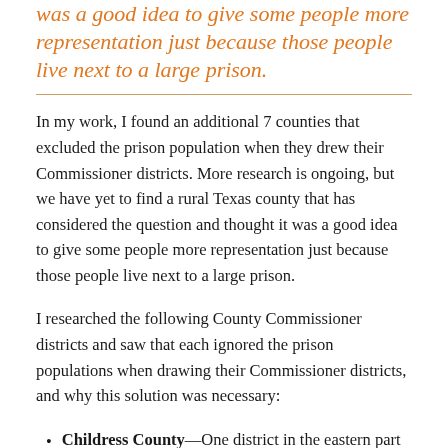was a good idea to give some people more representation just because those people live next to a large prison.
In my work, I found an additional 7 counties that excluded the prison population when they drew their Commissioner districts. More research is ongoing, but we have yet to find a rural Texas county that has considered the question and thought it was a good idea to give some people more representation just because those people live next to a large prison.
I researched the following County Commissioner districts and saw that each ignored the prison populations when drawing their Commissioner districts, and why this solution was necessary:
Childress County—One district in the eastern part of